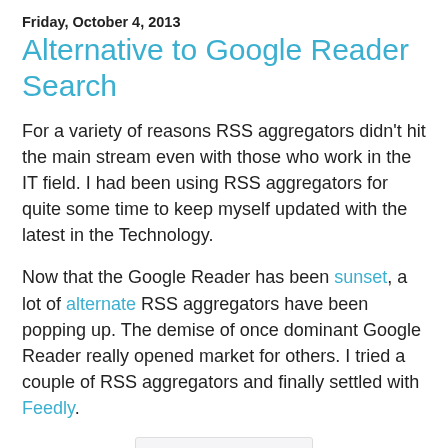Friday, October 4, 2013
Alternative to Google Reader Search
For a variety of reasons RSS aggregators didn't hit the main stream even with those who work in the IT field. I had been using RSS aggregators for quite some time to keep myself updated with the latest in the Technology.
Now that the Google Reader has been sunset, a lot of alternate RSS aggregators have been popping up. The demise of once dominant Google Reader really opened market for others. I tried a couple of RSS aggregators and finally settled with Feedly.
[Figure (illustration): An orange cartoon figure reading a document/book with RSS feed icon on it]
Feedly is a nice RSS aggregator which has almost all the features of the Google Reader. Feedly recently even opened the API for other applications to be built upon the Feedly